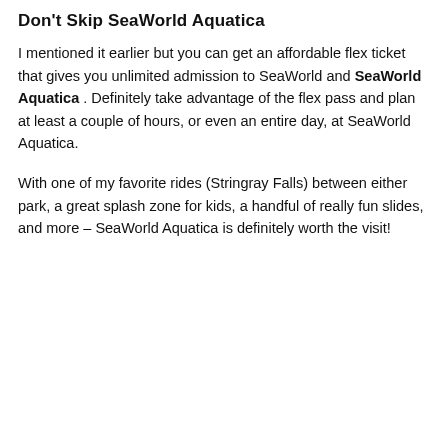Don't Skip SeaWorld Aquatica
I mentioned it earlier but you can get an affordable flex ticket that gives you unlimited admission to SeaWorld and SeaWorld Aquatica . Definitely take advantage of the flex pass and plan at least a couple of hours, or even an entire day, at SeaWorld Aquatica.
With one of my favorite rides (Stringray Falls) between either park, a great splash zone for kids, a handful of really fun slides, and more – SeaWorld Aquatica is definitely worth the visit!